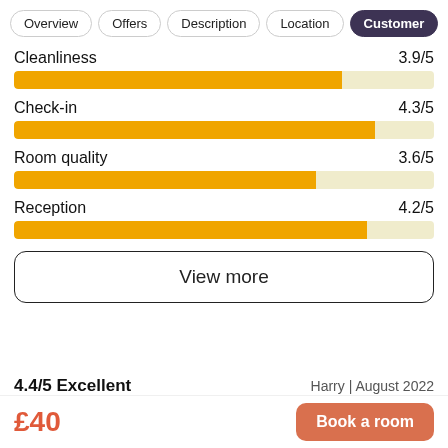Overview | Offers | Description | Location | Customer
[Figure (bar-chart): Hotel ratings]
View more
4.4/5 Excellent    Harry | August 2022
£40   Book a room